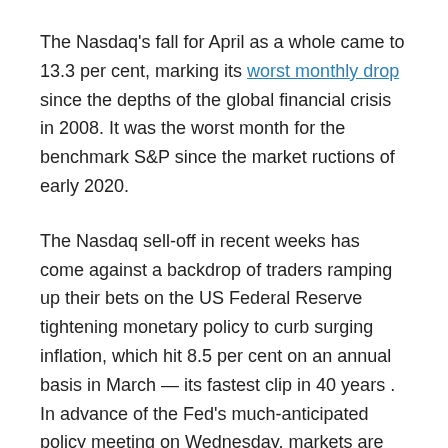The Nasdaq's fall for April as a whole came to 13.3 per cent, marking its worst monthly drop since the depths of the global financial crisis in 2008. It was the worst month for the benchmark S&P since the market ructions of early 2020.
The Nasdaq sell-off in recent weeks has come against a backdrop of traders ramping up their bets on the US Federal Reserve tightening monetary policy to curb surging inflation, which hit 8.5 per cent on an annual basis in March — its fastest clip in 40 years . In advance of the Fed's much-anticipated policy meeting on Wednesday, markets are pricing in an extra-large interest rate rise of half a percentage point, followed by increases of the same size at the next two meetings. The current key interest rate range stands at 0.25 to 0.5 per cent.
Higher interest rates can dampen the appeal of more speculative companies, whose expected profit streams have been flattered